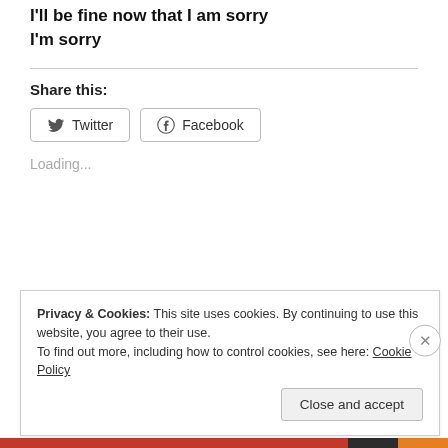I'll be fine now that I am sorry
I'm sorry
Share this:
[Figure (other): Twitter and Facebook share buttons]
Loading...
Read // 0 Subscriptions (partial, cut off at bottom)
Privacy & Cookies: This site uses cookies. By continuing to use this website, you agree to their use.
To find out more, including how to control cookies, see here: Cookie Policy
Close and accept